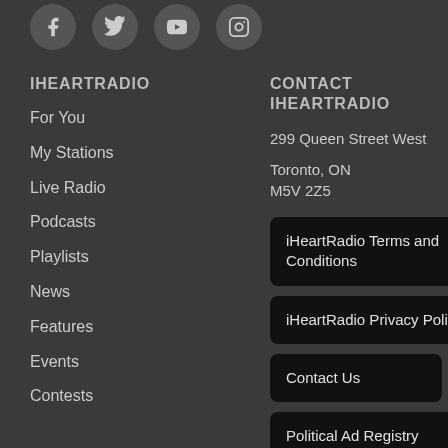[Figure (illustration): Social media icons: Facebook, Twitter, YouTube, Instagram — circular dark grey buttons with white icons]
IHEARTRADIO
For You
My Stations
Live Radio
Podcasts
Playlists
News
Features
Events
Contests
CONTACT IHEARTRADIO
299 Queen Street West
Toronto, ON
M5V 2Z5
iHeartRadio Terms and Conditions
iHeartRadio Privacy Policy
Contact Us
Political Ad Registry
Accessibility